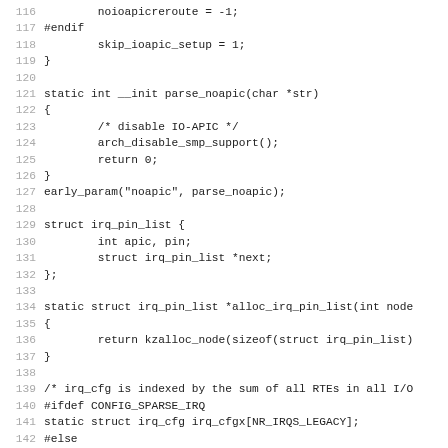Source code listing, lines 116-147, C kernel code for IRQ/IOAPIC initialization
116			noloapicreroute = -1;
117 #endif
118			skip_ioapic_setup = 1;
119 }
120
121 static int __init parse_noapic(char *str)
122 {
123			/* disable IO-APIC */
124			arch_disable_smp_support();
125			return 0;
126 }
127 early_param("noapic", parse_noapic);
128
129 struct irq_pin_list {
130			int apic, pin;
131			struct irq_pin_list *next;
132 };
133
134 static struct irq_pin_list *alloc_irq_pin_list(int node
135 {
136			return kzalloc_node(sizeof(struct irq_pin_list)
137 }
138
139 /* irq_cfg is indexed by the sum of all RTEs in all I/O
140 #ifdef CONFIG_SPARSE_IRQ
141 static struct irq_cfg irq_cfgx[NR_IRQS_LEGACY];
142 #else
143 static struct irq_cfg irq_cfgx[NR_IRQS];
144 #endif
145
146 int __init arch_early_irq_init(void)
147 {